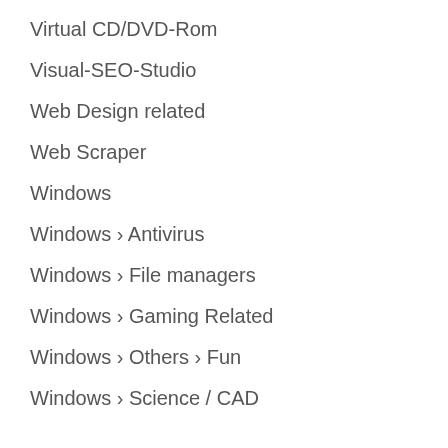Virtual CD/DVD-Rom
Visual-SEO-Studio
Web Design related
Web Scraper
Windows
Windows › Antivirus
Windows › File managers
Windows › Gaming Related
Windows › Others › Fun
Windows › Science / CAD